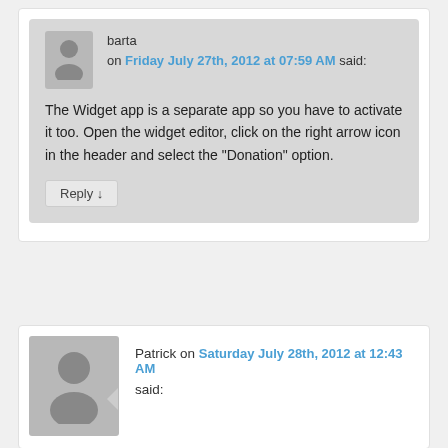barta on Friday July 27th, 2012 at 07:59 AM said:
The Widget app is a separate app so you have to activate it too. Open the widget editor, click on the right arrow icon in the header and select the “Donation” option.
Reply ↓
Patrick on Saturday July 28th, 2012 at 12:43 AM said: